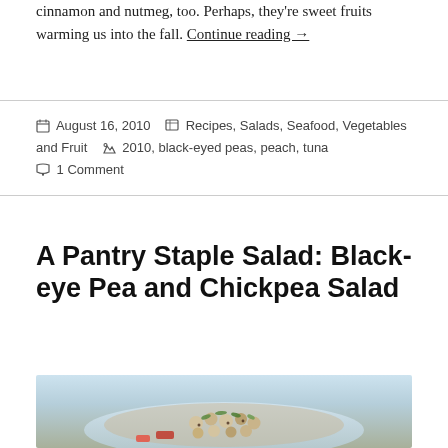cinnamon and nutmeg, too. Perhaps, they're sweet fruits warming us into the fall. Continue reading →
August 16, 2010   Recipes, Salads, Seafood, Vegetables and Fruit   2010, black-eyed peas, peach, tuna   1 Comment
A Pantry Staple Salad: Black-eye Pea and Chickpea Salad
[Figure (photo): A bowl of black-eyed pea and chickpea salad with herbs and red pepper on a light blue background]